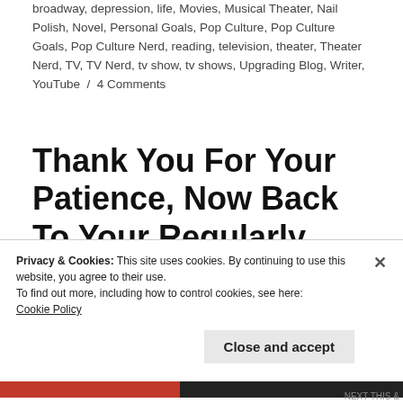broadway, depression, life, Movies, Musical Theater, Nail Polish, Novel, Personal Goals, Pop Culture, Pop Culture Goals, Pop Culture Nerd, reading, television, theater, Theater Nerd, TV, TV Nerd, tv show, tv shows, Upgrading Blog, Writer, YouTube / 4 Comments
Thank You For Your Patience, Now Back To Your Regularly Scheduled Program...
Privacy & Cookies: This site uses cookies. By continuing to use this website, you agree to their use.
To find out more, including how to control cookies, see here: Cookie Policy